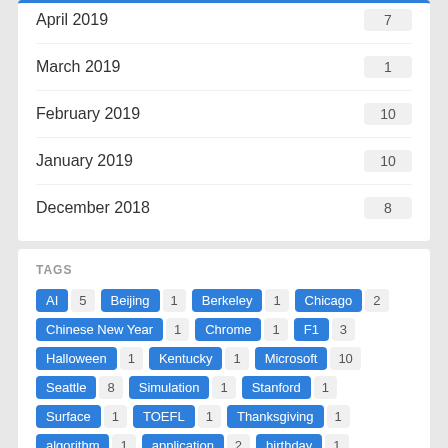April 2019  7
March 2019  1
February 2019  10
January 2019  10
December 2018  8
TAGS
AI 5  Beijing 1  Berkeley 1  Chicago 2  Chinese New Year 1  Chrome 1  F1 3  Halloween 1  Kentucky 1  Microsoft 10  Seattle 8  Simulation 1  Stanford 1  Surface 1  TOEFL 1  Thanksgiving 1  algorithm 1  application 2  birthday 1  break 2  class 2  coding 1  column 1  competition 12  cookies 4